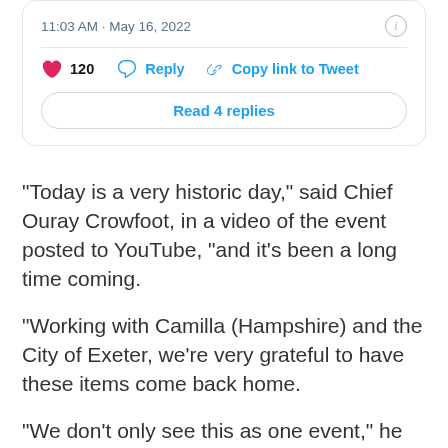[Figure (screenshot): Tweet interaction bar showing timestamp '11:03 AM · May 16, 2022', info icon, heart icon with count 120, Reply button, Copy link to Tweet button, and 'Read 4 replies' button]
"Today is a very historic day," said Chief Ouray Crowfoot, in a video of the event posted to YouTube, "and it's been a long time coming.
"Working with Camilla (Hampshire) and the City of Exeter, we're very grateful to have these items come back home.
"We don't only see this as one event," he added," but we see it as a relationship building, collaborative effort on ways we can open the door to bring many items back."